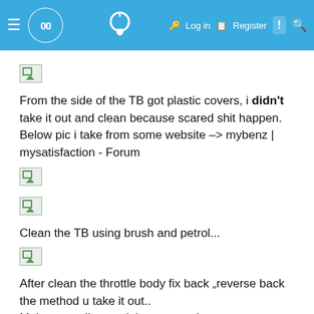00 | Log in | Register
[Figure (photo): Broken image placeholder (small)]
From the side of the TB got plastic covers, i didn't take it out and clean because scared shit happen. Below pic i take from some website -> mybenz | mysatisfaction - Forum
[Figure (photo): Broken image placeholder (small)]
[Figure (photo): Broken image placeholder (small)]
Clean the TB using brush and petrol...
[Figure (photo): Broken image placeholder (small)]
After clean the throttle body fix back „reverse back the method u take it out..
Make sure all were tighten properly..
Tighten the TB using X method so that it is balance and don't